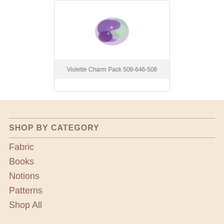[Figure (photo): Product card showing a Violette Charm Pack fabric swatch bundle (purple and green floral fabrics) with product label 'Violette Charm Pack 508-646-508' on a light gray background.]
SHOP BY CATEGORY
Fabric
Books
Notions
Patterns
Shop All